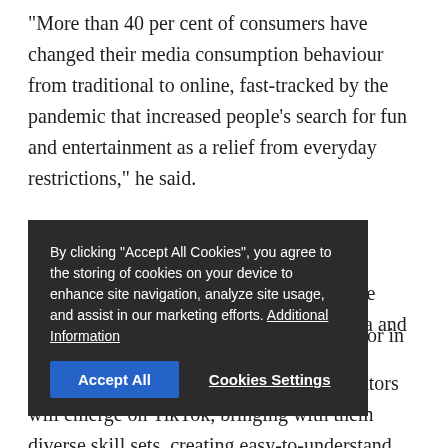"More than 40 per cent of consumers have changed their media consumption behaviour from traditional to online, fast-tracked by the pandemic that increased people's search for fun and entertainment as a relief from everyday restrictions," he said.
"Figures show that 89 per cent of Thais use mobile devices to enjoy entertaining media and among them 99% watch videos."
[Figure (screenshot): Cookie consent overlay popup on a dark background with text: 'By clicking "Accept All Cookies", you agree to the storing of cookies on your device to enhance site navigation, analyze site usage, and assist in our marketing efforts. Additional Information' with buttons 'Accept All' (blue) and 'Cookies Settings' (white underlined text).]
TikTok said these are the trends to watch for in 2022:
• Edutainment — a new generation of creators will emerge on TikTok, bringing with them diverse skill sets, creating easy-to-understand content that is entertaining and will inspire people's learning and self-